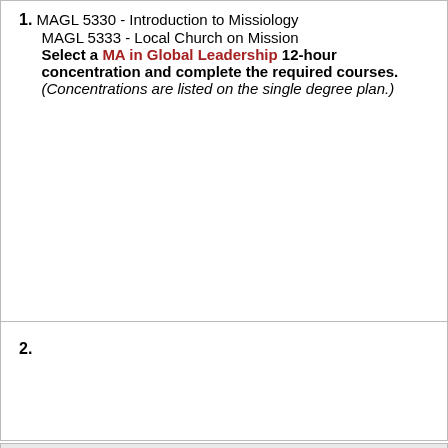1. MAGL 5330 - Introduction to Missiology
MAGL 5333 - Local Church on Mission
Select a MA in Global Leadership 12-hour concentration and complete the required courses. (Concentrations are listed on the single degree plan.)
2.
1.
TOTAL HOURS
2.
1. 24 hours
2. Required Shared Curriculum